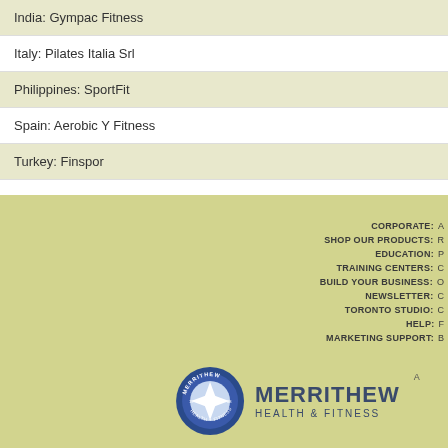India: Gympac Fitness
Italy: Pilates Italia Srl
Philippines: SportFit
Spain: Aerobic Y Fitness
Turkey: Finspor
CORPORATE:  A
SHOP OUR PRODUCTS:  R
EDUCATION:  P
TRAINING CENTERS:  C
BUILD YOUR BUSINESS:  O
NEWSLETTER:  C
TORONTO STUDIO:  C
HELP:  F
MARKETING SUPPORT:  B
[Figure (logo): Merrithew Health & Fitness circular emblem logo with diamond star shape on blue background, accompanied by MERRITHEW HEALTH & FITNESS text]